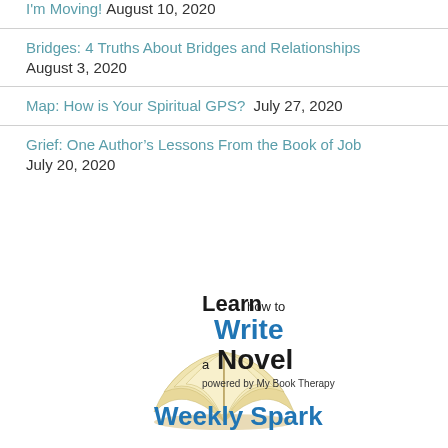I'm Moving! August 10, 2020
Bridges: 4 Truths About Bridges and Relationships August 3, 2020
Map: How is Your Spiritual GPS? July 27, 2020
Grief: One Author's Lessons From the Book of Job July 20, 2020
[Figure (logo): Learn how to Write a Novel powered by My Book Therapy — Weekly Spark logo with open book illustration]